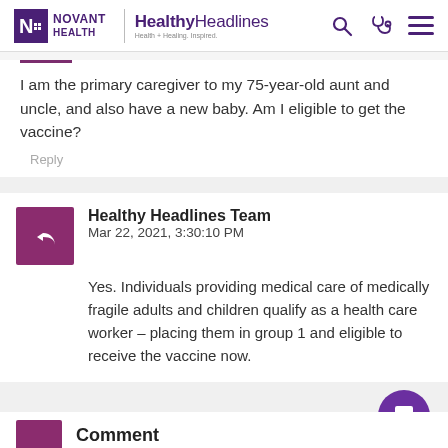Novant Health | HealthyHeadlines — Health + Healing. Inspired.
I am the primary caregiver to my 75-year-old aunt and uncle, and also have a new baby. Am I eligible to get the vaccine?
Reply
Healthy Headlines Team
Mar 22, 2021, 3:30:10 PM
Yes. Individuals providing medical care of medically fragile adults and children qualify as a health care worker – placing them in group 1 and eligible to receive the vaccine now.
Comment